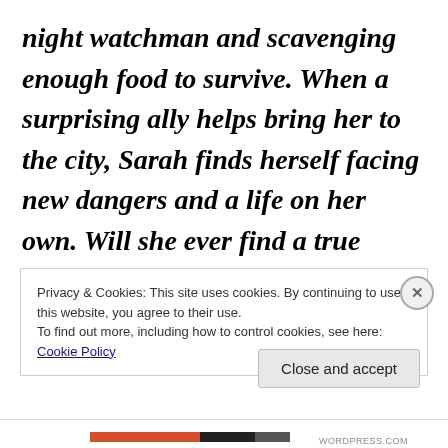night watchman and scavenging enough food to survive. When a surprising ally helps bring her to the city, Sarah finds herself facing new dangers and a life on her own. Will she ever find a true home in America?
Privacy & Cookies: This site uses cookies. By continuing to use this website, you agree to their use.
To find out more, including how to control cookies, see here: Cookie Policy
Close and accept